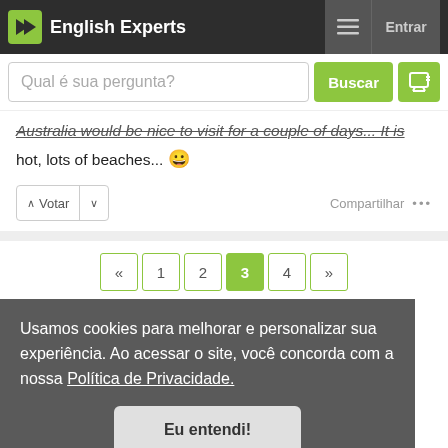English Experts
Qual é sua pergunta?
Australia would be nice to visit for a couple of days... It is hot, lots of beaches... 😀
Votar   Compartilhar •••
« 1 2 3 4 »
Usamos cookies para melhorar e personalizar sua experiência. Ao acessar o site, você concorda com a nossa Política de Privacidade.
Eu entendi!
he world cup?